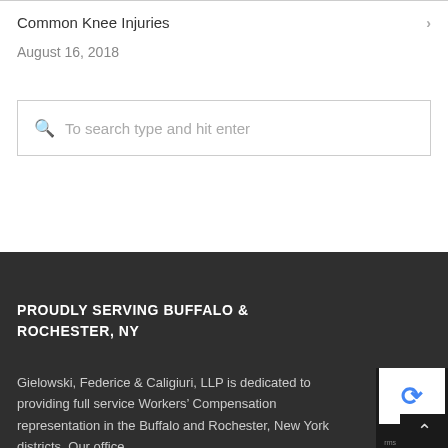Common Knee Injuries — August 16, 2018
To search type and hit enter
PROUDLY SERVING BUFFALO & ROCHESTER, NY
Gielowski, Federice & Caligiuri, LLP is dedicated to providing full service Workers' Compensation representation in the Buffalo and Rochester, New York districts. Our office